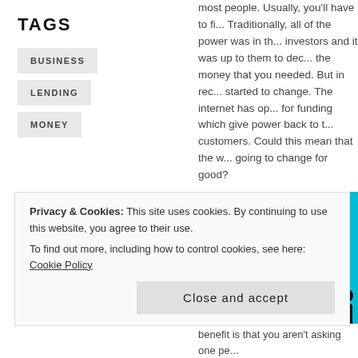TAGS
BUSINESS
LENDING
MONEY
most people. Usually, you'll have to fi... Traditionally, all of the power was in th... investors and it was up to them to dec... the money that you needed. But in rec... started to change. The internet has op... for funding which give power back to t... customers. Could this mean that the w... going to change for good?
[Figure (illustration): Teal/cyan background illustration showing a circular arrow cycle with icons: a lightbulb (idea), a money bag, and people silhouettes, representing crowdfunding or peer-to-peer lending concept.]
Privacy & Cookies: This site uses cookies. By continuing to use this website, you agree to their use.
To find out more, including how to control cookies, see here: Cookie Policy
Close and accept
benefit is that you aren't asking one pe...